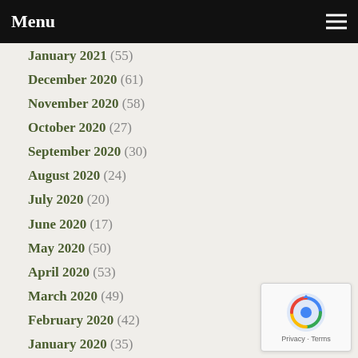Menu
January 2021 (55)
December 2020 (61)
November 2020 (58)
October 2020 (27)
September 2020 (30)
August 2020 (24)
July 2020 (20)
June 2020 (17)
May 2020 (50)
April 2020 (53)
March 2020 (49)
February 2020 (42)
January 2020 (35)
December 2019 (36)
November 2019 (39)
October 2019 (27)
September 2019 (60)
August 2019 (16)
July 2019 (24)